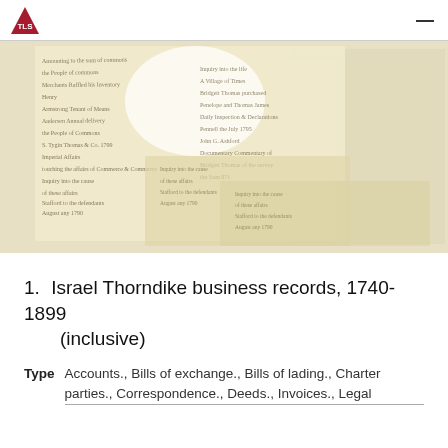Harvard Library header with logo
[Figure (photo): Layered historical handwritten manuscript documents, overlapping, with cursive text in old script, appears to be colonial-era records]
1.  Israel Thorndike business records, 1740-1899 (inclusive)
Type  Accounts., Bills of exchange., Bills of lading., Charter parties., Correspondence., Deeds., Invoices., Legal